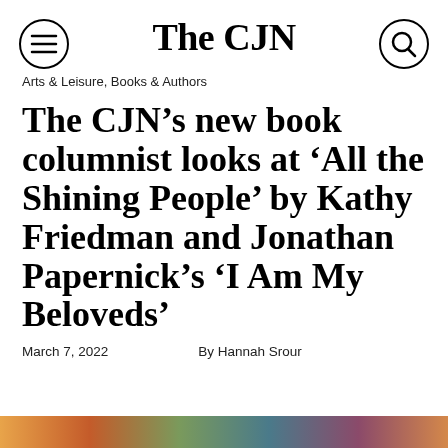The CJN
Arts & Leisure, Books & Authors
The CJN’s new book columnist looks at ‘All the Shining People’ by Kathy Friedman and Jonathan Papernick’s ‘I Am My Beloveds’
March 7, 2022    By Hannah Srour